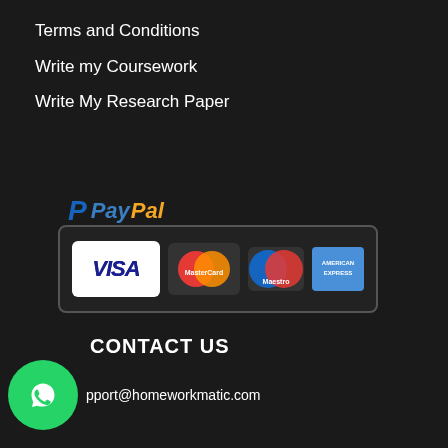Terms and Conditions
Write my Coursework
Write My Research Paper
[Figure (logo): PayPal payment logo with Visa, MasterCard, Maestro, and American Express card logos in a dark box]
CONTACT US
[Figure (logo): WhatsApp circular green button icon]
pport@homeworkmatic.com